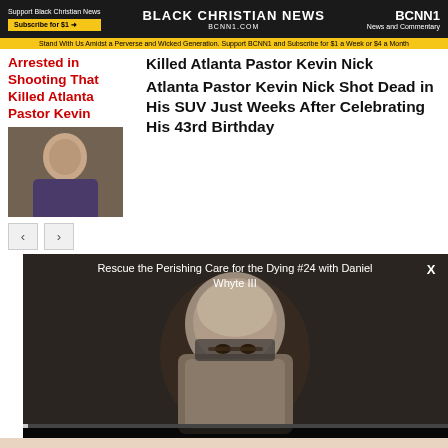BLACK CHRISTIAN NEWS BCNN1.COM | Support Black Christian News Subscribe for $1 | BCNN1 News and Commentary
Stand With Us Amidst a Perverse and Wicked Generation. Support BCNN1 and Subscribe for $1 a Week or $4 a Month
Arrested in Shooting That Killed Atlanta Pastor Kevin Nick
Killed Atlanta Pastor Kevin Nick
[Figure (photo): Portrait photo of Pastor Kevin Nick, a man in a suit]
Atlanta Pastor Kevin Nick Shot Dead in His SUV Just Weeks After Celebrating His 43rd Birthday
[Figure (screenshot): Video player showing 'Rescue the Perishing Care for the Dying #24 with Daniel Whyte III', video of an older man with glasses and grey hair, time 0:03 / 1:06:32]